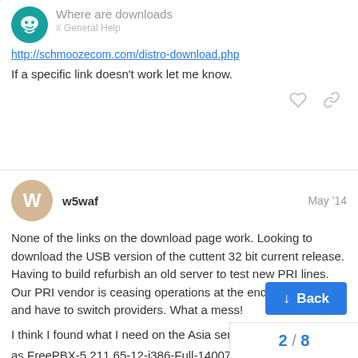Where are downloads
http://schmoozecom.com/distro-download.php
If a specific link doesn't work let me know.
w5waf  May '14
None of the links on the download page work. Looking to download the USB version of the cuttent 32 bit current release. Having to build refurbish an old server to test new PRI lines. Our PRI vendor is ceasing operations at the end of the month, and have to switch providers. What a mess!
I think I found what I need on the Asia server...
as FreePBX-5.211.65-12-i386-Full-1400799022.img
BF
2 / 8